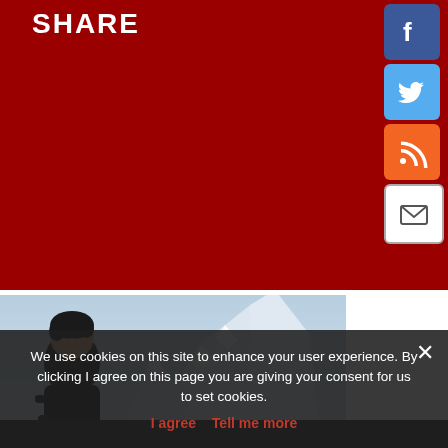SHARE
[Figure (illustration): Social media sharing icons: Facebook (blue), Twitter (cyan), RSS (orange), Email (white/grey)]
[Figure (photo): A smiling young man with curly hair holding trekking poles in a mountainous snowy landscape with jagged mountain peaks in the background]
We use cookies on this site to enhance your user experience. By clicking I agree on this page you are giving your consent for us to set cookies.
I agree  Tell me more